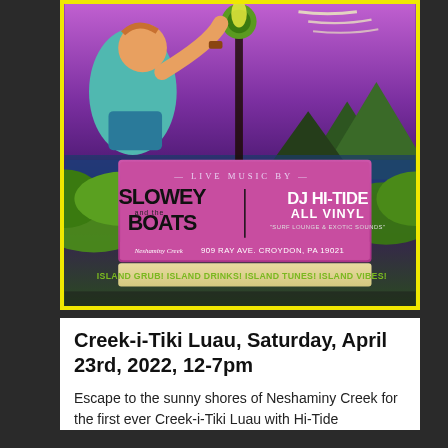[Figure (illustration): Event poster for Creek-i-Tiki Luau featuring tropical/tiki artwork with a surfer character on a purple background with mountains and ocean, live music by Slowey and the Boats and DJ Hi-Tide All Vinyl, at 909 Ray Ave. Croydon, PA 19021, with yellow border]
Creek-i-Tiki Luau, Saturday, April 23rd, 2022, 12-7pm
Escape to the sunny shores of Neshaminy Creek for the first ever Creek-i-Tiki Luau with Hi-Tide